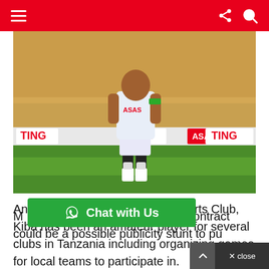Navigation bar with hamburger menu, share icon, and search icon
[Figure (photo): A football player wearing a white 'ASAS' jersey and white shorts on a football pitch, with stadium crowd and advertising boards for ASAS and TING visible in the background.]
An ardent supporter of Yanga Sports Club, Kiba has been an amateur player for several clubs in Tanzania including organizing games for local teams to participate in.
M... peculations that the singer's contract could be a possible publicity stunt to pu...